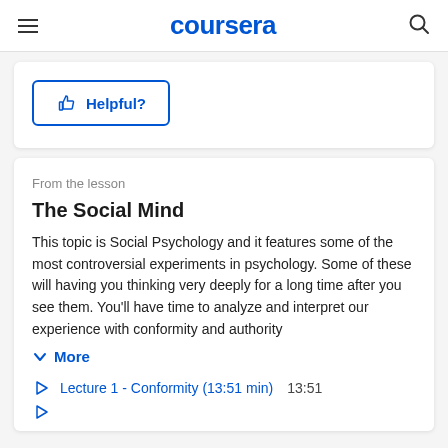coursera
👍 Helpful?
From the lesson
The Social Mind
This topic is Social Psychology and it features some of the most controversial experiments in psychology. Some of these will having you thinking very deeply for a long time after you see them. You'll have time to analyze and interpret our experience with conformity and authority
More
Lecture 1 - Conformity (13:51 min)  13:51
Lecture 2 - Authority (partial)